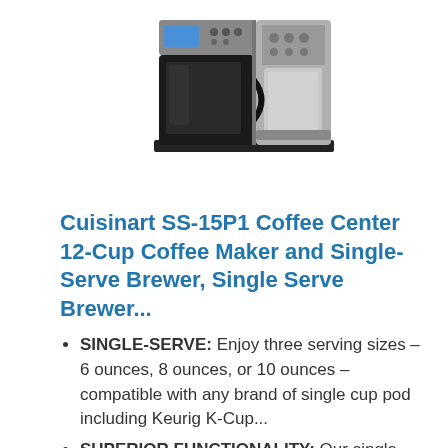[Figure (photo): Cuisinart SS-15P1 Coffee Center combo coffee maker - stainless steel appliance with 12-cup carafe on left and single-serve brewer on right, shown from front view]
Cuisinart SS-15P1 Coffee Center 12-Cup Coffee Maker and Single-Serve Brewer, Single Serve Brewer...
SINGLE-SERVE: Enjoy three serving sizes – 6 ounces, 8 ounces, or 10 ounces – compatible with any brand of single cup pod including Keurig K-Cup...
SUPERIOR FUNCTIONALITY: Our single-serve brewer has a 40oz removable water reservoir that complements its charcoal water filter and removable drip...
CARAFE BREWER: Serve up to 12 cups of coffee at once with our glass carafe coffee